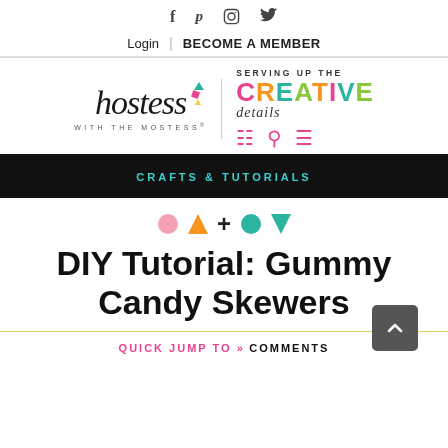Social icons: f p instagram twitter | Login | BECOME A MEMBER
[Figure (logo): Hostess with the Mostess logo with tagline 'Serving Up the Creative Details' and colorful CREATIVE lettering with confetti shapes]
CRAFTS & TUTORIALS
[Figure (illustration): Decorative row of colorful geometric shapes: pink circle, orange triangle, plus sign, teal circle, teal triangle]
DIY Tutorial: Gummy Candy Skewers
QUICK JUMP TO » COMMENTS